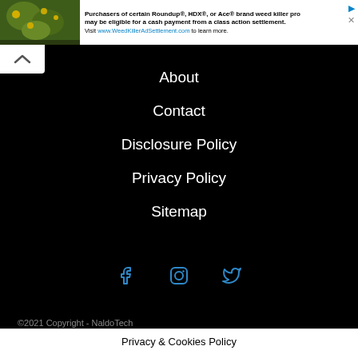[Figure (screenshot): Advertisement banner for weed killer class action settlement with plant image on left and text on right]
Purchasers of certain Roundup®, HDX®, or Ace® brand weed killer products may be eligible for a cash payment from a class action settlement. Visit www.WeedKillerAdSettlement.com to learn more.
About
Contact
Disclosure Policy
Privacy Policy
Sitemap
[Figure (illustration): Social media icons: Facebook, Instagram, Twitter in blue on black background]
©2021 Copyright - NaldoTech
Privacy & Cookies Policy